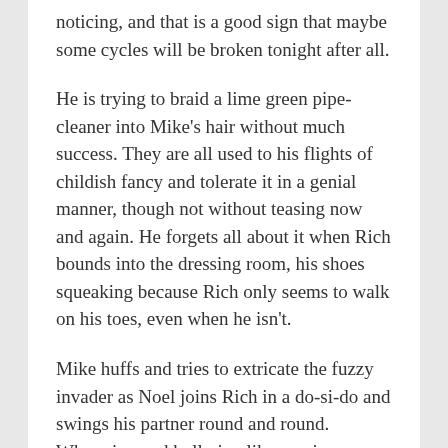noticing, and that is a good sign that maybe some cycles will be broken tonight after all.
He is trying to braid a lime green pipe-cleaner into Mike's hair without much success. They are all used to his flights of childish fancy and tolerate it in a genial manner, though not without teasing now and again. He forgets all about it when Rich bounds into the dressing room, his shoes squeaking because Rich only seems to walk on his toes, even when he isn't.
Mike huffs and tries to extricate the fuzzy invader as Noel joins Rich in a do-si-do and swings his partner round and round. Whooping and hollering like maniacs or banshees, they pummel into Julian with an audible smack. He wasn't expecting